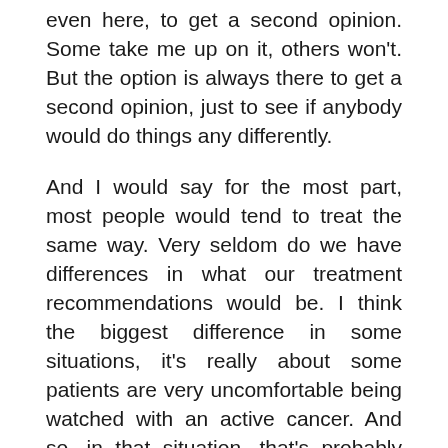even here, to get a second opinion. Some take me up on it, others won't. But the option is always there to get a second opinion, just to see if anybody would do things any differently.
And I would say for the most part, most people would tend to treat the same way. Very seldom do we have differences in what our treatment recommendations would be. I think the biggest difference in some situations, it's really about some patients are very uncomfortable being watched with an active cancer. And so, in that situation, that's probably the biggest discrepancy we have nowadays.